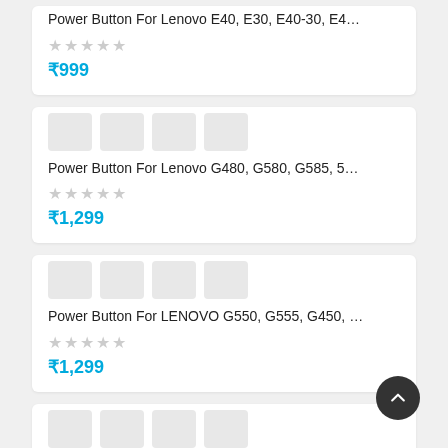Power Button For Lenovo E40, E30, E40-30, E4…
₹999
Power Button For Lenovo G480, G580, G585, 5…
₹1,299
Power Button For LENOVO G550, G555, G450, …
₹1,299
Power Button For Lenovo IdeaPad 100-14IBD, …
₹1,299